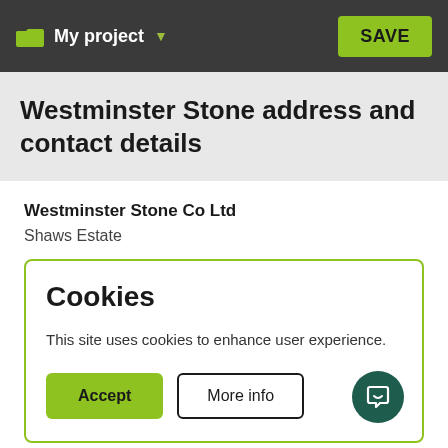My project   SAVE
Westminster Stone address and contact details
Westminster Stone Co Ltd
Shaws Estate
Cookies
This site uses cookies to enhance user experience.
Accept   More info